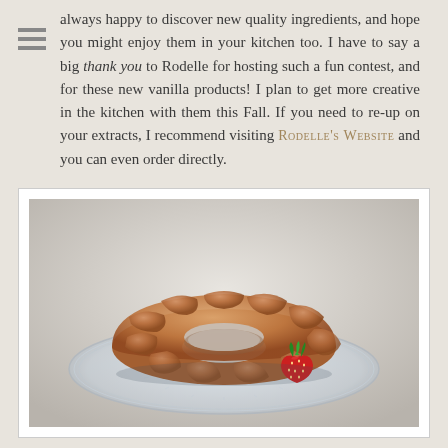always happy to discover new quality ingredients, and hope you might enjoy them in your kitchen too. I have to say a big thank you to Rodelle for hosting such a fun contest, and for these new vanilla products! I plan to get more creative in the kitchen with them this Fall. If you need to re-up on your extracts, I recommend visiting RODELLE'S WEBSITE and you can even order directly.
[Figure (photo): A bundt cake on a glass cake stand with a strawberry garnish, photographed on a light background.]